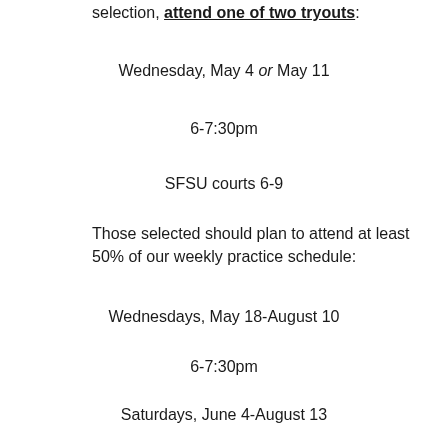selection, attend one of two tryouts:
Wednesday, May 4 or May 11
6-7:30pm
SFSU courts 6-9
Those selected should plan to attend at least 50% of our weekly practice schedule:
Wednesdays, May 18-August 10
6-7:30pm
Saturdays, June 4-August 13
10am-noon
*June 11*
*12:30-2:30pm*
All players are required to be vaccinated and sign a liability